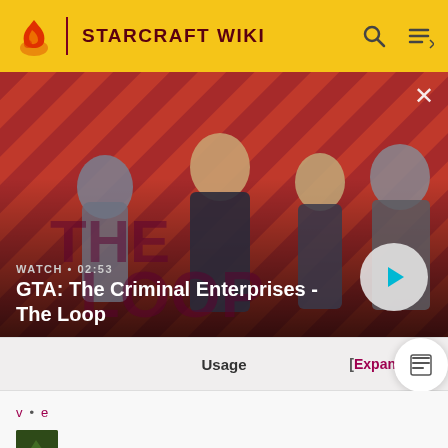STARCRAFT WIKI
[Figure (screenshot): Video thumbnail for GTA: The Criminal Enterprises - The Loop, showing four characters on a red diagonal-striped background. Shows WATCH • 02:53 label and a play button.]
GTA: The Criminal Enterprises - The Loop
| Usage | [Expand |
| --- | --- |
v • e
[Figure (photo): Small game icon thumbnail, green/dark colored.]